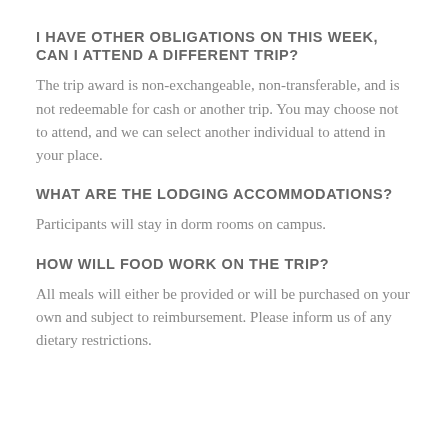I HAVE OTHER OBLIGATIONS ON THIS WEEK, CAN I ATTEND A DIFFERENT TRIP?
The trip award is non-exchangeable, non-transferable, and is not redeemable for cash or another trip. You may choose not to attend, and we can select another individual to attend in your place.
WHAT ARE THE LODGING ACCOMMODATIONS?
Participants will stay in dorm rooms on campus.
HOW WILL FOOD WORK ON THE TRIP?
All meals will either be provided or will be purchased on your own and subject to reimbursement. Please inform us of any dietary restrictions.